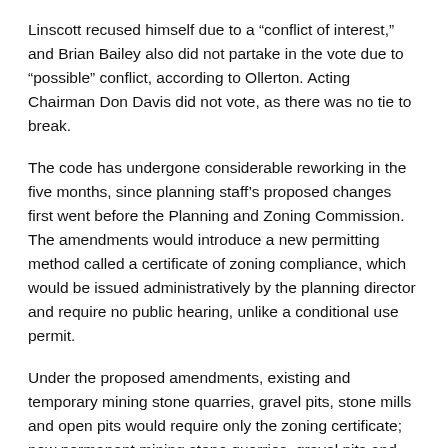Linscott recused himself due to a “conflict of interest,” and Brian Bailey also did not partake in the vote due to “possible” conflict, according to Ollerton. Acting Chairman Don Davis did not vote, as there was no tie to break.
The code has undergone considerable reworking in the five months, since planning staff’s proposed changes first went before the Planning and Zoning Commission. The amendments would introduce a new permitting method called a certificate of zoning compliance, which would be issued administratively by the planning director and require no public hearing, unlike a conditional use permit.
Under the proposed amendments, existing and temporary mining stone quarries, gravel pits, stone mills and open pits would require only the zoning certificate; new permanent mining stone quarries, gravel pits and stone mills would require a CUP; and rock blasting would be allowed in any permanent quarry.
Ollerton told the Reader in August that Bonner County “continually